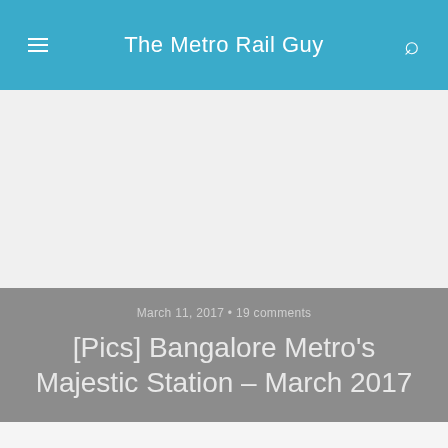The Metro Rail Guy
March 11, 2017 • 19 comments
[Pics] Bangalore Metro's Majestic Station – March 2017